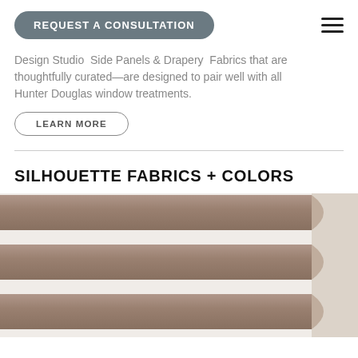REQUEST A CONSULTATION
Design Studio  Side Panels & Drapery  Fabrics that are thoughtfully curated—are designed to pair well with all Hunter Douglas window treatments.
LEARN MORE
SILHOUETTE FABRICS + COLORS
[Figure (photo): Close-up photograph of Silhouette window blind fabric vanes in a taupe/brown color, showing horizontal fabric slats with curved edges against a white background, partially open position.]